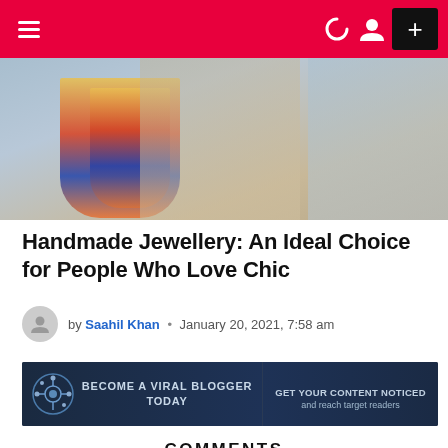Navigation bar with hamburger menu, dark mode, user icon, and + button
[Figure (photo): Close-up photo of a woman wearing colorful handmade tassel jewellery — blue, red, and yellow tassels around her neck]
Handmade Jewellery: An Ideal Choice for People Who Love Chic
by Saahil Khan  •  January 20, 2021, 7:58 am
[Figure (infographic): Ad banner: BECOME A VIRAL BLOGGER TODAY | GET YOUR CONTENT NOTICED and reach target readers]
COMMENTS
OUR SITE   FACEBOOK